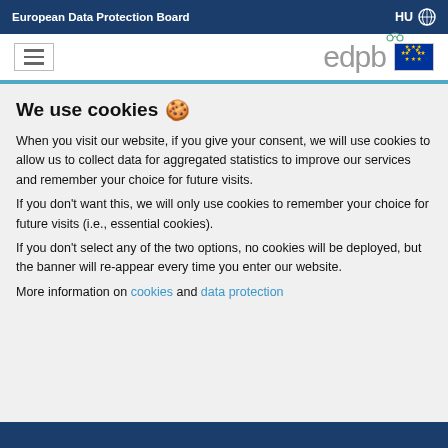European Data Protection Board | HU
[Figure (logo): EDPB logo with hamburger menu icon and EU flag]
We use cookies 🍪
When you visit our website, if you give your consent, we will use cookies to allow us to collect data for aggregated statistics to improve our services and remember your choice for future visits.
If you don't want this, we will only use cookies to remember your choice for future visits (i.e., essential cookies).
If you don't select any of the two options, no cookies will be deployed, but the banner will re-appear every time you enter our website.
More information on cookies and data protection